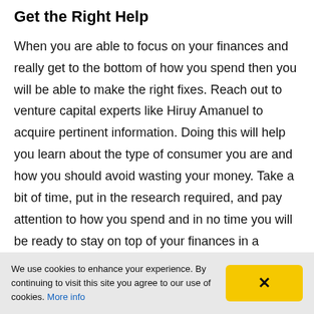Get the Right Help
When you are able to focus on your finances and really get to the bottom of how you spend then you will be able to make the right fixes. Reach out to venture capital experts like Hiruy Amanuel to acquire pertinent information. Doing this will help you learn about the type of consumer you are and how you should avoid wasting your money. Take a bit of time, put in the research required, and pay attention to how you spend and in no time you will be ready to stay on top of your finances in a
We use cookies to enhance your experience. By continuing to visit this site you agree to our use of cookies. More info